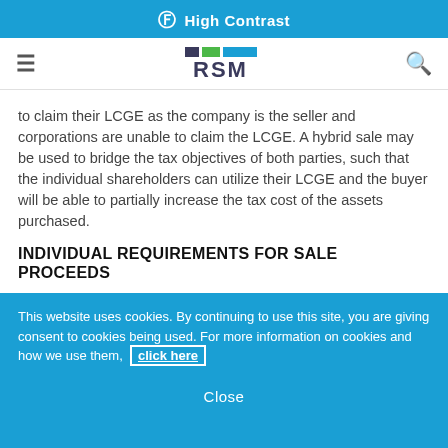High Contrast
RSM
to claim their LCGE as the company is the seller and corporations are unable to claim the LCGE. A hybrid sale may be used to bridge the tax objectives of both parties, such that the individual shareholders can utilize their LCGE and the buyer will be able to partially increase the tax cost of the assets purchased.
INDIVIDUAL REQUIREMENTS FOR SALE PROCEEDS
In an asset sale, proceeds are used to settle the liabilities of the selling corporation before distribution
This website uses cookies. By continuing to use this site, you are giving consent to cookies being used. For more information on cookies and how we use them, click here
Close